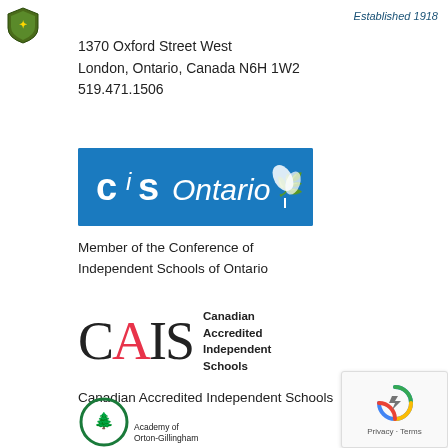[Figure (logo): School shield/crest logo in top left corner]
Established 1918
1370 Oxford Street West
London, Ontario, Canada N6H 1W2
519.471.1506
[Figure (logo): CIS Ontario logo - blue rectangular banner with white text reading 'cis Ontario' with leaf motif]
Member of the Conference of Independent Schools of Ontario
[Figure (logo): CAIS logo - large letters C A I S where A is in red, with text 'Canadian Accredited Independent Schools' to the right]
Canadian Accredited Independent Schools
[Figure (logo): Academy of Orton-Gillingham circular green logo, partially visible at bottom]
[Figure (other): reCAPTCHA widget in bottom right corner showing robot icon and Privacy/Terms links]